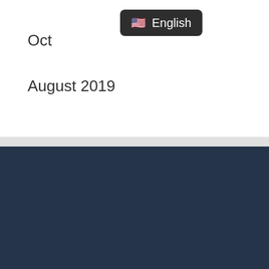Oct
[Figure (screenshot): Dropdown menu showing English language selection with US flag emoji]
August 2019
Categories
Canada
Express Entry
Politics
Science
Sports
Study
Technology